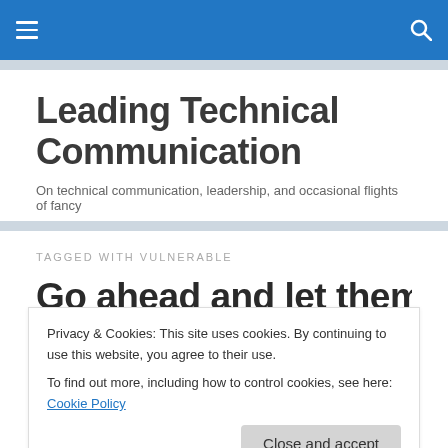Leading Technical Communication — site header navigation bar
Leading Technical Communication
On technical communication, leadership, and occasional flights of fancy
TAGGED WITH VULNERABLE
Go ahead and let them see you
Privacy & Cookies: This site uses cookies. By continuing to use this website, you agree to their use.
To find out more, including how to control cookies, see here: Cookie Policy
Close and accept
sure what to do, even when you feel scared, it's best for